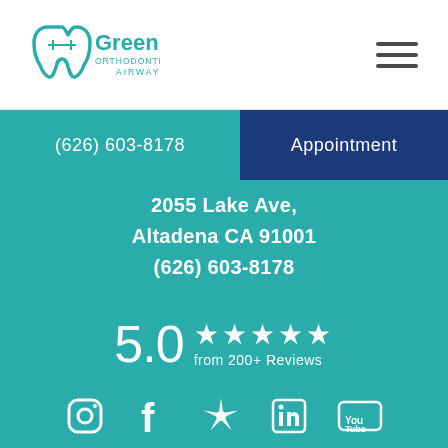[Figure (logo): Greenberg Orthodontics & TMJ Airway logo with tooth icon]
[Figure (other): Hamburger menu icon (three horizontal lines)]
(626) 603-8178
Appointment
2055 Lake Ave,
Altadena CA 91001
(626) 603-8178
5.0 ★★★★★ from 200+ Reviews
[Figure (other): Social media icons: Instagram, Facebook, Yelp, LinkedIn, YouTube]